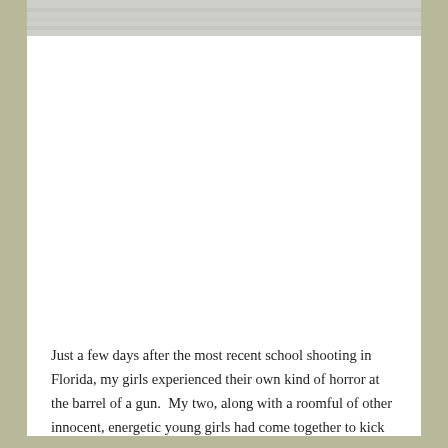[Figure (photo): Cropped top portion of a black and white photo, showing a textured surface, partially cut off at the top of the page.]
[Figure (photo): Black and white photograph of two young girls sitting facing each other on a window bench or ledge, with their legs extended toward each other. One girl on the left wears a patterned skirt and boots; the other on the right wears a white sweater with lace trim. A bright window is behind them, and a bed is visible in the lower right corner.]
Just a few days after the most recent school shooting in Florida, my girls experienced their own kind of horror at the barrel of a gun.  My two, along with a roomful of other innocent, energetic young girls had come together to kick